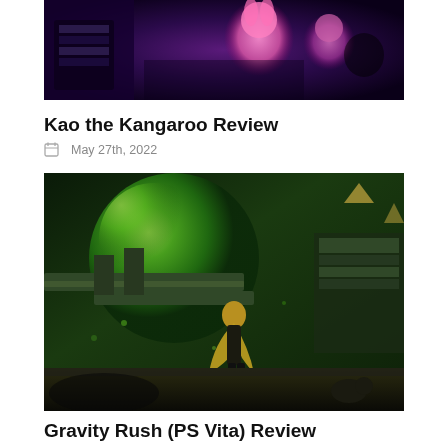[Figure (photo): Top banner image showing a video game scene with purple/dark fantasy theme, featuring colorful characters including what appears to be a pink rabbit-like character against a dark purple background]
Kao the Kangaroo Review
May 27th, 2022
[Figure (photo): Video game screenshot showing a green-tinted environment with a character with long blonde hair standing on a platform, looking up at large green glowing structures. Scene has a dramatic underwater or otherworldly aesthetic.]
Gravity Rush (PS Vita) Review